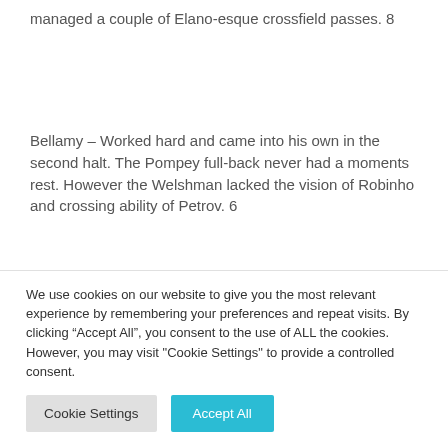managed a couple of Elano-esque crossfield passes. 8
Bellamy – Worked hard and came into his own in the second halt. The Pompey full-back never had a moments rest. However the Welshman lacked the vision of Robinho and crossing ability of Petrov. 6
Adebayor – Looks capable of scoring every game,
We use cookies on our website to give you the most relevant experience by remembering your preferences and repeat visits. By clicking "Accept All", you consent to the use of ALL the cookies. However, you may visit "Cookie Settings" to provide a controlled consent.